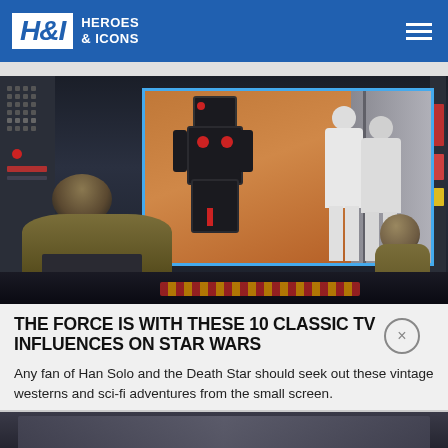H&I Heroes & Icons
[Figure (photo): A sci-fi TV show scene showing a crew member viewed from behind at a console, watching a viewscreen displaying a robot (Robby the Robot style) and two figures in white jumpsuits, set on a spaceship bridge.]
THE FORCE IS WITH THESE 10 CLASSIC TV INFLUENCES ON STAR WARS
Any fan of Han Solo and the Death Star should seek out these vintage westerns and sci-fi adventures from the small screen.
[Figure (photo): Partial bottom strip showing beginning of another image]